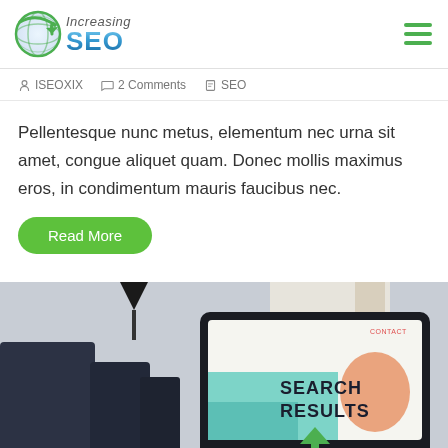[Figure (logo): Increasing SEO logo with globe icon and green/blue gradient text]
ISEOXIX  2 Comments  SEO
Pellentesque nunc metus, elementum nec urna sit amet, congue aliquet quam. Donec mollis maximus eros, in condimentum mauris faucibus nec.
Read More
[Figure (photo): Office scene with laptop displaying 'SEARCH RESULTS' on screen, dark chairs in background]